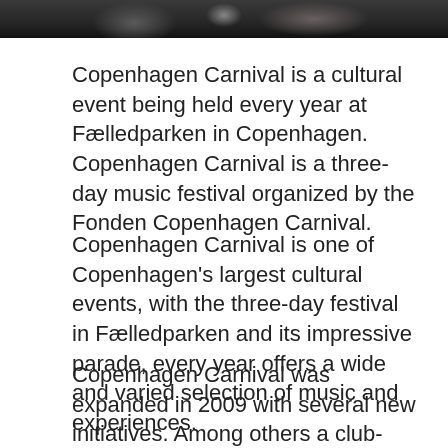[Figure (photo): Top portion of a photograph showing people at an outdoor event, dark background with figures visible]
Copenhagen Carnival is a cultural event being held every year at Fælledparken in Copenhagen. Copenhagen Carnival is a three-day music festival organized by the Fonden Copenhagen Carnival.
Copenhagen Carnival is one of Copenhagen's largest cultural events, with the three-day festival in Fælledparken and its impressive parade, every year offers a wide and varied selection of music and experiences.
Copenhagen Carnival was expanded in 2009 with several new initiatives. Among others a club-oriented scene with a wide range of exciting names from home and abroad.